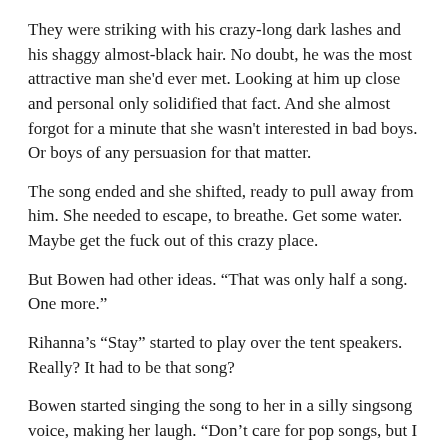They were striking with his crazy-long dark lashes and his shaggy almost-black hair. No doubt, he was the most attractive man she'd ever met. Looking at him up close and personal only solidified that fact. And she almost forgot for a minute that she wasn't interested in bad boys. Or boys of any persuasion for that matter.
The song ended and she shifted, ready to pull away from him. She needed to escape, to breathe. Get some water. Maybe get the fuck out of this crazy place.
But Bowen had other ideas. “That was only half a song. One more.”
Rihanna’s “Stay” started to play over the tent speakers. Really? It had to be that song?
Bowen started singing the song to her in a silly singsong voice, making her laugh. “Don’t care for pop songs, but I like this one,” he said pulling her up against his body with a tug so swift she had to put her hand on his chest for balance.
Oh shit. He was rock hard under that tux shirt. The temptation